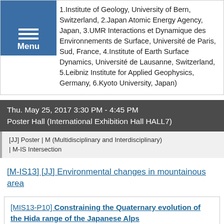1.Institute of Geology, University of Bern, Switzerland, 2.Japan Atomic Energy Agency, Japan, 3.UMR Interactions et Dynamique des Environnements de Surface, Université de Paris, Sud, France, 4.Institute of Earth Surface Dynamics, Université de Lausanne, Switzerland, 5.Leibniz Institute for Applied Geophysics, Germany, 6.Kyoto University, Japan)
Thu. May 25, 2017 3:30 PM - 4:45 PM
Poster Hall (International Exhibition Hall HALL7)
[JJ] Poster | M (Multidisciplinary and Interdisciplinary)
| M-IS Intersection
[M-IS13] [JJ] Environmental changes in mountainous area
[MIS13-P10] Constraining the Quaternary evolution of the Hida range of the Japanese Alps
Georgina E King 1, Shigeru Sueoka 2, Floriane Ahadi 3, Cécile Gautheron 3, Frédéric Herman 4, * Sumiko